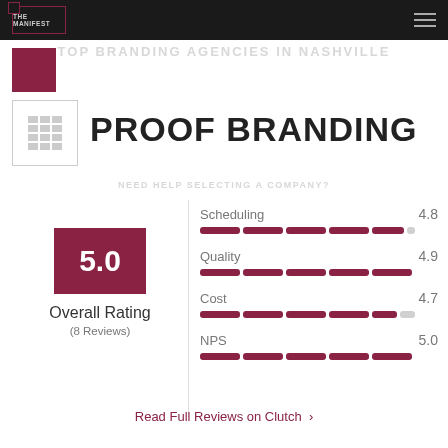THE MANIFEST
PROOF BRANDING
5.0
Overall Rating
(8 Reviews)
| Metric | Score |
| --- | --- |
| Scheduling | 4.8 |
| Quality | 4.9 |
| Cost | 4.7 |
| NPS | 5.0 |
Read Full Reviews on Clutch >